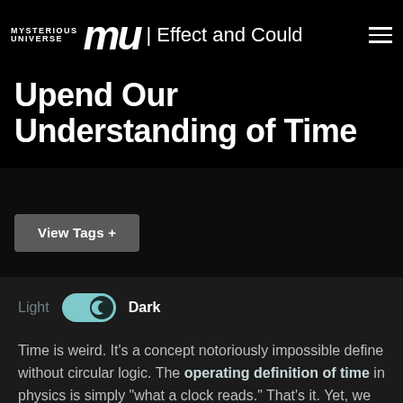MYSTERIOUS UNIVERSE mu | Effect and Could Upend Our Understanding of Time
Effect and Could Upend Our Understanding of Time
View Tags +
Light  Dark
Time is weird. It's a concept notoriously impossible define without circular logic. The operating definition of time in physics is simply "what a clock reads." That's it. Yet, we have ideas about time that are held as fundamental truths,